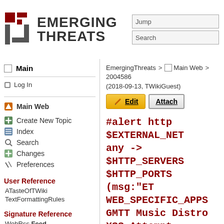[Figure (logo): Emerging Threats logo with red shield icon and bold text EMERGING THREATS]
Jump
Search
Main
Log In
Main Web
Create New Topic
Index
Search
Changes
Preferences
User Reference
ATasteOfTWiki
TextFormattingRules
Signature Reference
WebRss Feed
EmergingFAQ
EmergingThreats > Main Web > 2004586
(2018-09-13, TWikiGuest)
Edit
Attach
#alert http $EXTERNAL_NET any -> $HTTP_SERVERS $HTTP_PORTS (msg:"ET WEB_SPECIFIC_APPS GMTT Music Distro XSS Attempt -- showown.php st"; flow:established,to_serve content:"/showown_php?"